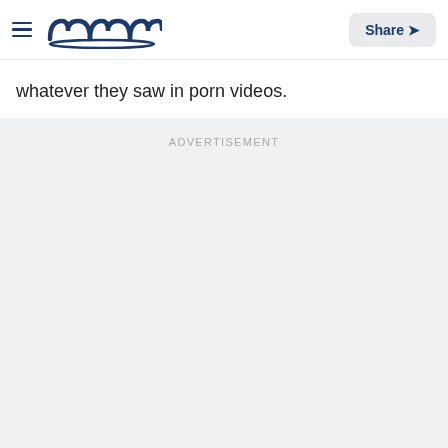meaww — Share
whatever they saw in porn videos.
ADVERTISEMENT